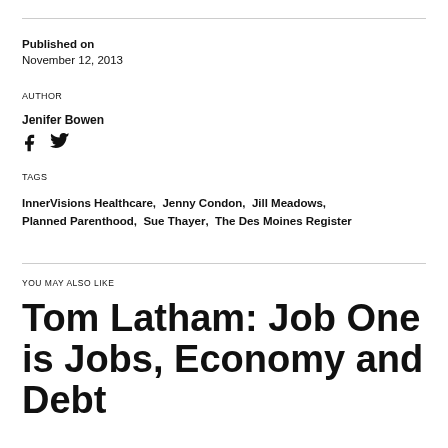Published on
November 12, 2013
AUTHOR
Jenifer Bowen
[Figure (other): Social media icons: Facebook and Twitter]
TAGS
InnerVisions Healthcare,  Jenny Condon,  Jill Meadows,  Planned Parenthood,  Sue Thayer,  The Des Moines Register
YOU MAY ALSO LIKE
Tom Latham: Job One is Jobs, Economy and Debt